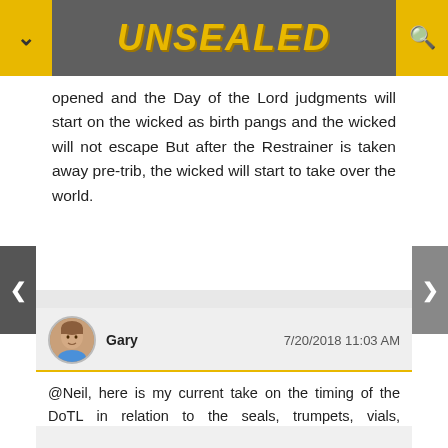UNSEALED
opened and the Day of the Lord judgments will start on the wicked as birth pangs and the wicked will not escape But after the Restrainer is taken away pre-trib, the wicked will start to take over the world.
Gary  7/20/2018 11:03 AM
@Neil, here is my current take on the timing of the DoTL in relation to the seals, trumpets, vials, etc:
https://www.unsealed.org/2018/06/the-day-of-lord.html